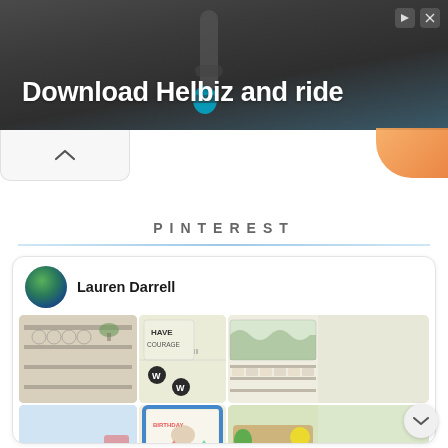[Figure (screenshot): Advertisement banner for Helbiz scooter app. Shows the text 'Download Helbiz and ride' over a dark blurred background image of a scooter handlebar with a blue element.]
PINTEREST
[Figure (screenshot): Pinterest profile card for Lauren Darrell showing a circular avatar photo and a grid of classroom/educational themed images including dramatic play center, 'Have Courage' bulletin board, classroom shelves, a colorful poster, and a food photo.]